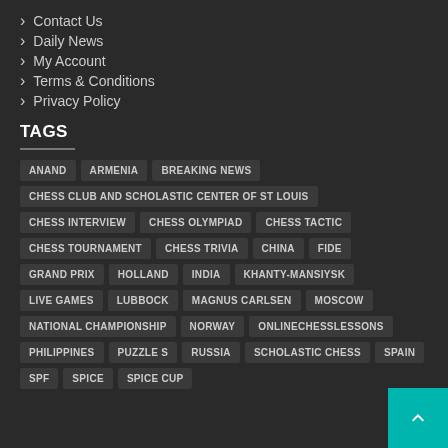Contact Us
Daily News
My Account
Terms & Conditions
Privacy Policy
TAGS
ANAND ARMENIA BREAKING NEWS CHESS CLUB AND SCHOLASTIC CENTER OF ST LOUIS CHESS INTERVIEW CHESS OLYMPIAD CHESS TACTIC CHESS TOURNAMENT CHESS TRIVIA CHINA FIDE GRAND PRIX HOLLAND INDIA KHANTY-MANSIYSK LIVE GAMES LUBBOCK MAGNUS CARLSEN MOSCOW NATIONAL CHAMPIONSHIP NORWAY ONLINECHESSLESSONS PHILIPPINES PUZZLE SOLVING RUSSIA SCHOLASTIC CHESS SPAIN SPF SPICE SPICE CUP